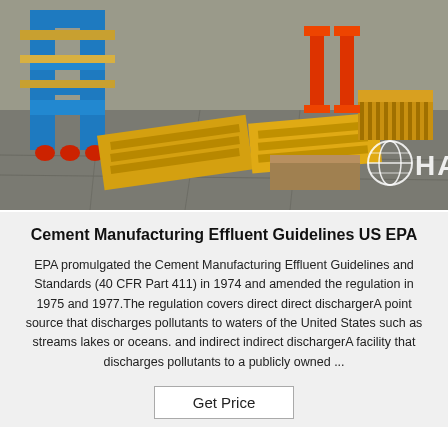[Figure (photo): Industrial concrete block making machinery on a factory floor. A blue metal frame machine is on the left, large yellow pallet-type forms/molds are arranged on the ground, and red/orange stands are visible in the background. A white HAOMEI logo with globe icon is overlaid on the lower-right portion of the image.]
Cement Manufacturing Effluent Guidelines US EPA
EPA promulgated the Cement Manufacturing Effluent Guidelines and Standards (40 CFR Part 411) in 1974 and amended the regulation in 1975 and 1977.The regulation covers direct direct dischargerA point source that discharges pollutants to waters of the United States such as streams lakes or oceans. and indirect indirect dischargerA facility that discharges pollutants to a publicly owned ...
Get Price